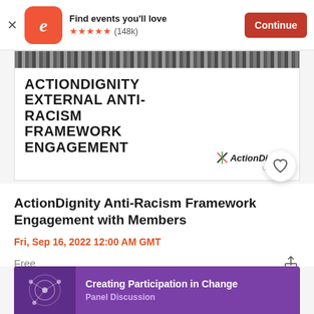[Figure (screenshot): Eventbrite app banner with orange logo, 'Find events you'll love' text, five orange stars, (148k) reviews, and orange Continue button]
[Figure (screenshot): Event banner image showing 'ACTIONDIGNITY EXTERNAL ANTI-RACISM FRAMEWORK ENGAGEMENT' in bold black text on white background, with ActionDignity logo at bottom right, and a textured photo strip at top]
ActionDignity Anti-Racism Framework Engagement with Members
Fri, Sep 16, 2022 12:00 AM GMT
Free
[Figure (screenshot): Bottom portion of a purple event card showing 'Creating Participation in Change' and 'Panel Discussion' text with network graphic on left]